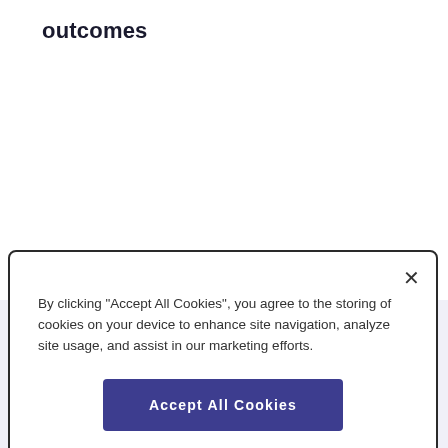outcomes
About Diaceutics
By clicking "Accept All Cookies", you agree to the storing of cookies on your device to enhance site navigation, analyze site usage, and assist in our marketing efforts.
Accept All Cookies
Cookies Settings